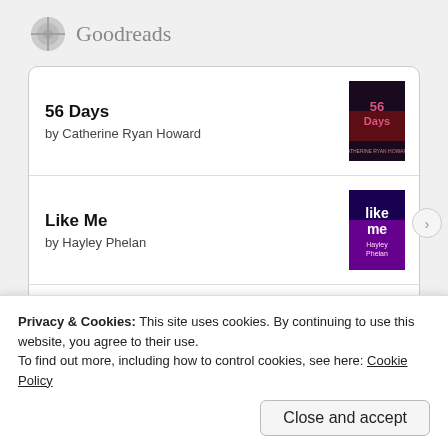Goodreads
56 Days
by Catherine Ryan Howard
Like Me
by Hayley Phelan
You Got Anything Stronger?: Stories
by Gabrielle Union
Verity
Privacy & Cookies: This site uses cookies. By continuing to use this website, you agree to their use.
To find out more, including how to control cookies, see here: Cookie Policy
Close and accept